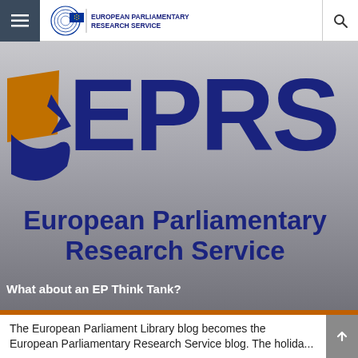European Parliamentary Research Service website header with hamburger menu, EPRS logo, and search icon
[Figure (logo): EPRS hero banner showing the EPRS logo with orange and blue flag symbol, large 'EPRS' text, and 'European Parliamentary Research Service' text on a grey gradient background]
What about an EP Think Tank?
The European Parliament Library blog becomes the European Parliamentary Research Service blog. The holid...